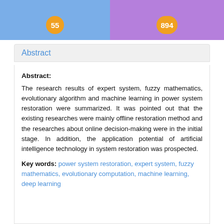[Figure (other): Two colored header boxes side by side: left box in blue with badge '55', right box in purple with badge '894']
Abstract
Abstract:
The research results of expert system, fuzzy mathematics, evolutionary algorithm and machine learning in power system restoration were summarized. It was pointed out that the existing researches were mainly offline restoration method and the researches about online decision-making were in the initial stage. In addition, the application potential of artificial intelligence technology in system restoration was prospected.
Key words: power system restoration, expert system, fuzzy mathematics, evolutionary computation, machine learning, deep learning